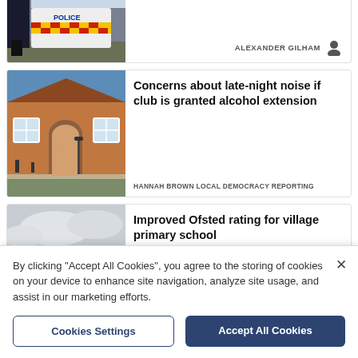[Figure (photo): Partial view of police car with yellow and red checkered markings and person's legs visible, at top of page]
ALEXANDER GILHAM
[Figure (photo): Red brick building exterior, a small community hall or similar, with arched doorway and white-framed windows, blue sky background]
Concerns about late-night noise if club is granted alcohol extension
HANNAH BROWN LOCAL DEMOCRACY REPORTING
[Figure (photo): Partial outdoor scene with overcast sky and hedgerow, bottom of page cut off]
Improved Ofsted rating for village primary school
By clicking "Accept All Cookies", you agree to the storing of cookies on your device to enhance site navigation, analyze site usage, and assist in our marketing efforts.
Cookies Settings
Accept All Cookies